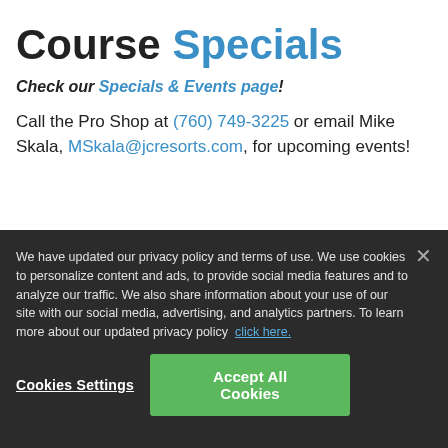Course Specials
Check our Specials & Events page!
Call the Pro Shop at (760) 749-3225 or email Mike Skala, MSkala@jcresorts.com, for upcoming events!
We have updated our privacy policy and terms of use. We use cookies to personalize content and ads, to provide social media features and to analyze our traffic. We also share information about your use of our site with our social media, advertising, and analytics partners. To learn more about our updated privacy policy  click here.
Cookies Settings
Accept All Cookies